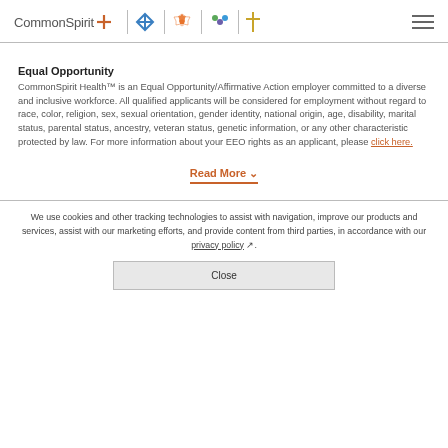CommonSpirit Health logo with navigation icons
Equal Opportunity
CommonSpirit Health™ is an Equal Opportunity/Affirmative Action employer committed to a diverse and inclusive workforce. All qualified applicants will be considered for employment without regard to race, color, religion, sex, sexual orientation, gender identity, national origin, age, disability, marital status, parental status, ancestry, veteran status, genetic information, or any other characteristic protected by law. For more information about your EEO rights as an applicant, please click here.
Read More ▾
We use cookies and other tracking technologies to assist with navigation, improve our products and services, assist with our marketing efforts, and provide content from third parties, in accordance with our privacy policy.
Close